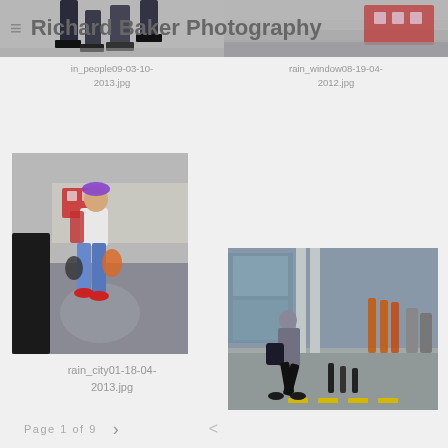Richard Baker Photography
[Figure (photo): Top-left partial photo of people walking on street, cropped at top]
in_people09-03-10-2013.jpg
[Figure (photo): Top-right partial photo with blurred motion, cropped at top]
rain_window08-19-04-2012.jpg
[Figure (photo): Street photography photo of person in white shirt and red shoes walking on wet pavement in rain_city]
rain_city01-18-04-2013.jpg
[Figure (photo): Street photography photo of person in dark coat running across wet urban plaza with buildings and bollards in background]
rain_city02-18-04-2013.jpg
Page 1 of 9